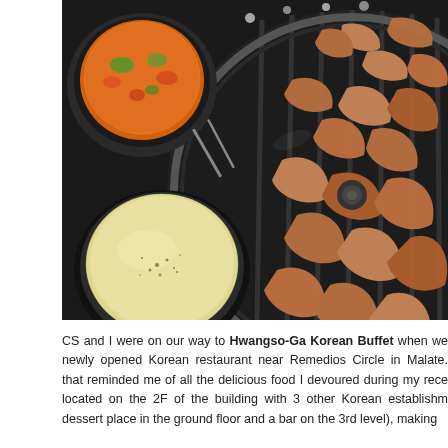[Figure (photo): Overhead view of a Korean BBQ table setup showing a round charcoal grill with pieces of cooked meat, a bowl of orange/vegetable soup at top left, and a bowl of yellow custard/egg dish at bottom left, all on a black table.]
CS and I were on our way to Hwangso-Ga Korean Buffet when we newly opened Korean restaurant near Remedios Circle in Malate. that reminded me of all the delicious food I devoured during my rece located on the 2F of the building with 3 other Korean establishm dessert place in the ground floor and a bar on the 3rd level), making